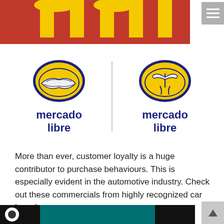[Figure (logo): McDonald's golden arches logo on red background, cropped at top]
[Figure (logo): Two versions of the Mercado Libre logo side by side, separated by a vertical line. Left: original logo with handshake, Right: alternative logo with flexing arms figure. Both show 'mercado libre' in dark blue text beneath a yellow oval emblem with blue border.]
More than ever, customer loyalty is a huge contributor to purchase behaviours. This is especially evident in the automotive industry. Check out these commercials from highly recognized car brands,
[Figure (screenshot): Bottom strip showing start of a video player with dark background and teal/dark sections visible]